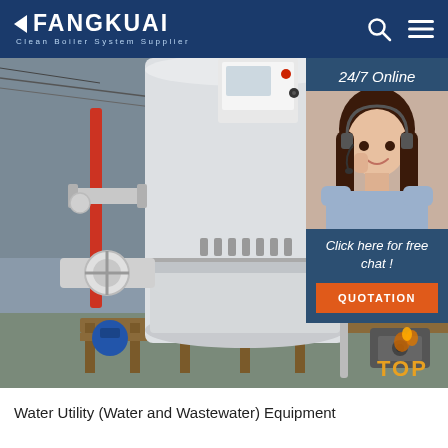FANGKUAI Clean Boiler System Supplier
[Figure (photo): Industrial boiler equipment photo showing a large white vertical steam boiler with valves, pipes, and control panel in a factory/industrial setting. Right side panel shows 24/7 Online agent with chat and quotation button.]
Water Utility (Water and Wastewater) Equipment